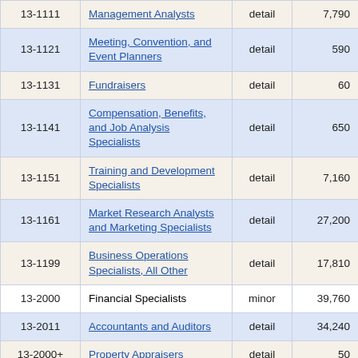| Code | Occupation | Level | Employment | (partial) |
| --- | --- | --- | --- | --- |
| 13-1111 | Management Analysts | detail | 7,790 | 6... |
| 13-1121 | Meeting, Convention, and Event Planners | detail | 590 | 12... |
| 13-1131 | Fundraisers | detail | 60 | 38... |
| 13-1141 | Compensation, Benefits, and Job Analysis Specialists | detail | 650 | 12... |
| 13-1151 | Training and Development Specialists | detail | 7,160 | 5... |
| 13-1161 | Market Research Analysts and Marketing Specialists | detail | 27,200 | 2... |
| 13-1199 | Business Operations Specialists, All Other | detail | 17,810 | 3... |
| 13-2000 | Financial Specialists | minor | 39,760 | 2... |
| 13-2011 | Accountants and Auditors | detail | 34,240 | 2... |
| 13-2000+ | Property Appraisers | detail | 50 | 4... |